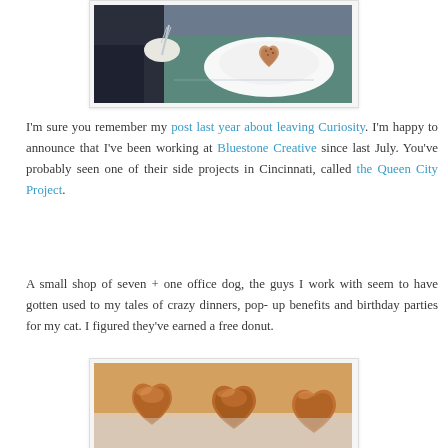[Figure (photo): A person holding a fork over a heart-shaped donut on a plate, placed on a green table. Photo shown in a light bordered frame.]
I'm sure you remember my post last year about leaving Curiosity. I'm happy to announce that I've been working at Bluestone Creative since last July. You've probably seen one of their side projects in Cincinnati, called the Queen City Project.
A small shop of seven + one office dog, the guys I work with seem to have gotten used to my tales of crazy dinners, pop-up benefits and birthday parties for my cat. I figured they've earned a free donut.
[Figure (photo): Close-up photo of several heart-shaped glazed donuts on a white surface.]